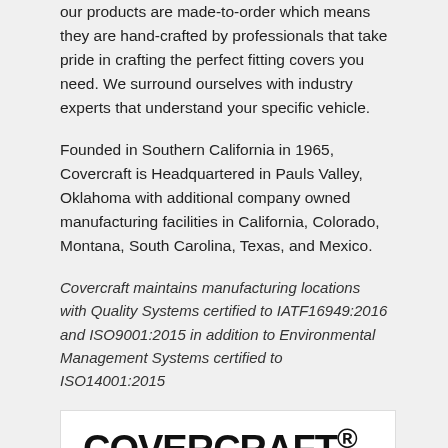our products are made-to-order which means they are hand-crafted by professionals that take pride in crafting the perfect fitting covers you need. We surround ourselves with industry experts that understand your specific vehicle.
Founded in Southern California in 1965, Covercraft is Headquartered in Pauls Valley, Oklahoma with additional company owned manufacturing facilities in California, Colorado, Montana, South Carolina, Texas, and Mexico.
Covercraft maintains manufacturing locations with Quality Systems certified to IATF16949:2016 and ISO9001:2015 in addition to Environmental Management Systems certified to ISO14001:2015
[Figure (logo): Covercraft logo with bold text 'COVERCRAFT.' and 'SINCE 1965' with decorative lines on a white background]
DOWNLOADS: